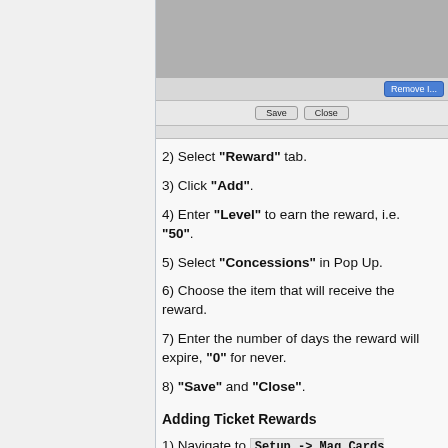[Figure (screenshot): Partial screenshot of a software dialog showing a gray content area, a 'Remove' button in blue, and Save/Close buttons at the bottom.]
2) Select "Reward" tab.
3) Click "Add".
4) Enter "Level" to earn the reward, i.e. "50".
5) Select "Concessions" in Pop Up.
6) Choose the item that will receive the reward.
7) Enter the number of days the reward will expire, "0" for never.
8) "Save" and "Close".
Adding Ticket Rewards
1) Navigate to Setup -> Mag Cards -> Bonus Points